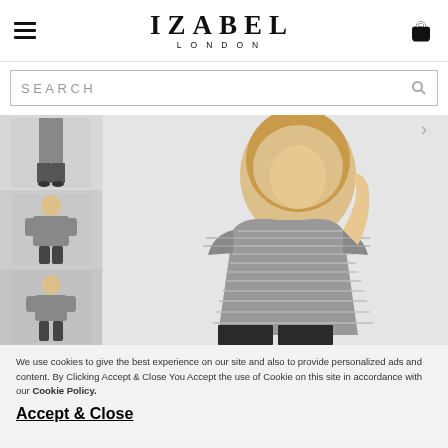IZABEL LONDON
SEARCH
[Figure (photo): E-commerce product page for Izabel London showing a woman wearing a silver/grey metallic striped short-sleeve top with black leather-look trousers. Three thumbnail images on the left showing different views of the outfit.]
We use cookies to give the best experience on our site and also to provide personalized ads and content. By Clicking Accept & Close You Accept the use of Cookie on this site in accordance with our Cookie Policy.

Accept & Close